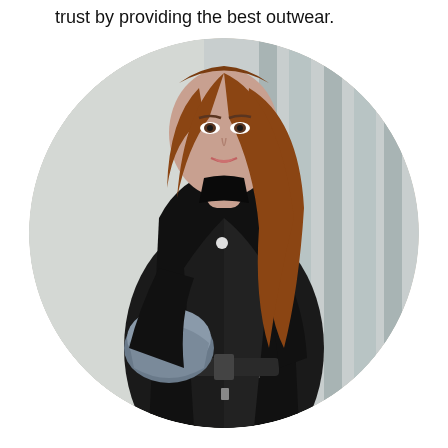trust by providing the best outwear.
[Figure (photo): A woman with long auburn hair wearing a black leather motorcycle jacket and holding a motorcycle helmet, standing in front of a wall with vertical stripes. The image is cropped in a circle.]